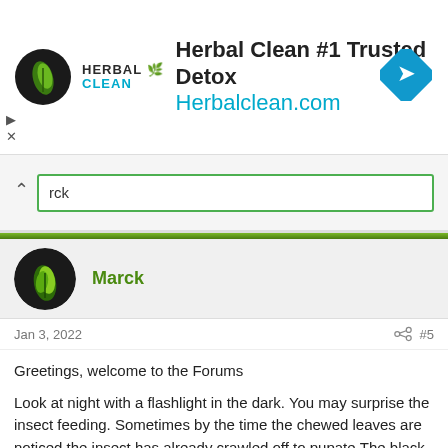[Figure (advertisement): Herbal Clean #1 Trusted Detox banner ad with logo, website URL Herbalclean.com, and blue diamond navigation icon]
[Figure (screenshot): Search bar with caret/expand control and partial text 'rck' visible, green border on input field]
[Figure (illustration): User avatar - circular avatar showing green plant/seedling on dark background]
Marck
Jan 3, 2022
#5
Greetings, welcome to the Forums
Look at night with a flashlight in the dark. You may surprise the insect feeding. Sometimes by the time the chewed leaves are noticed the insect has already crawled off to pupate.The black specks are likely some type of frass (insect feces). Depending on the insect different treatments will be effective.